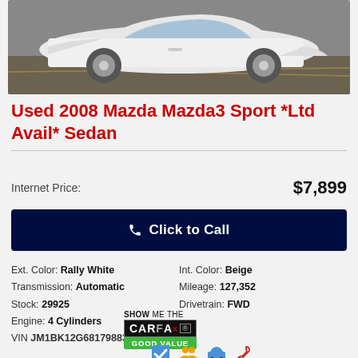[Figure (photo): Photo of a white 2008 Mazda Mazda3 sedan, front/side view, shown against a parking lot background]
Used 2008 Mazda Mazda3 Sport *Ltd Avail* Sedan
Internet Price: $7,899
Click to Call
Ext. Color: Rally White
Int. Color: Beige
Transmission: Automatic
Mileage: 127,352
Stock: 29925
Drivetrain: FWD
Engine: 4 Cylinders
VIN JM1BK12G681798836
[Figure (logo): SHOW ME THE CARFAX - GOOD VALUE badge/logo]